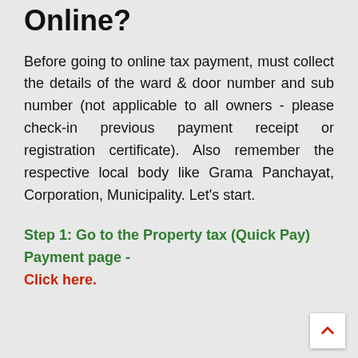Online?
Before going to online tax payment, must collect the details of the ward & door number and sub number (not applicable to all owners - please check-in previous payment receipt or registration certificate). Also remember the respective local body like Grama Panchayat, Corporation, Municipality. Let's start.
Step 1: Go to the Property tax (Quick Pay) Payment page - Click here.